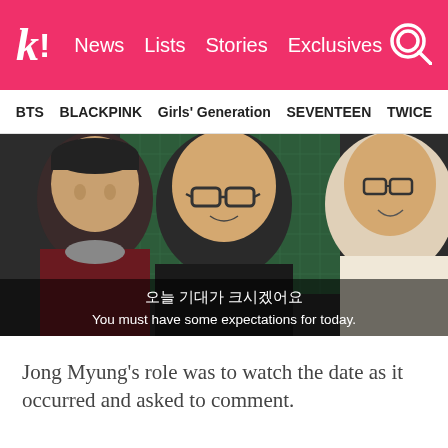k! News Lists Stories Exclusives
BTS BLACKPINK Girls' Generation SEVENTEEN TWICE
[Figure (screenshot): Video screenshot showing three people sitting together, with Korean subtitle text '오늘 기대가 크시겠어요' and English translation 'You must have some expectations for today.']
Jong Myung's role was to watch the date as it occurred and asked to comment.